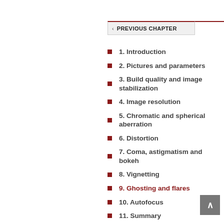< PREVIOUS CHAPTER
1. Introduction
2. Pictures and parameters
3. Build quality and image stabilization
4. Image resolution
5. Chromatic and spherical aberration
6. Distortion
7. Coma, astigmatism and bokeh
8. Vignetting
9. Ghosting and flares
10. Autofocus
11. Summary